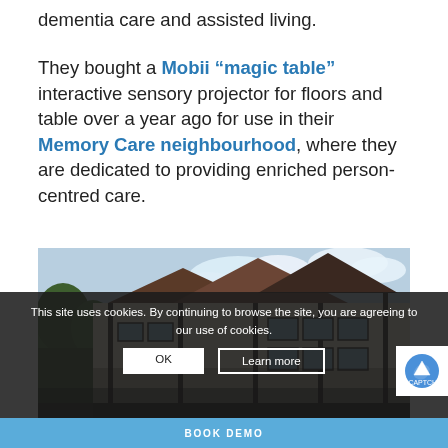dementia care and assisted living.
They bought a Mobii “magic table” interactive sensory projector for floors and table over a year ago for use in their Memory Care neighbourhood, where they are dedicated to providing enriched person-centred care.
[Figure (photo): Exterior photo of a care home building with pitched roofs, white/cream walls, dark timber detailing, and trees visible to the left. Sky with some clouds visible above.]
This site uses cookies. By continuing to browse the site, you are agreeing to our use of cookies.
BOOK DEMO